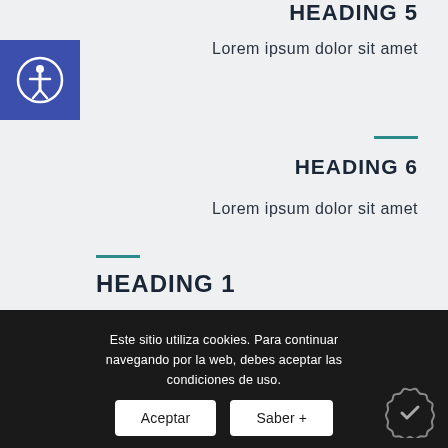HEADING 5
Lorem ipsum dolor sit amet
HEADING 6
Lorem ipsum dolor sit amet
HEADING 1
Lorem ipsum dolor sit amet
Este sitio utiliza cookies. Para continuar navegando por la web, debes aceptar las condiciones de uso.